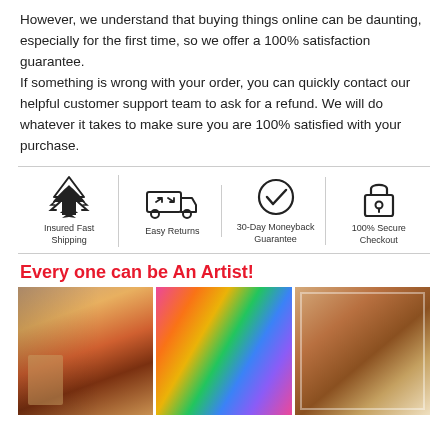However, we understand that buying things online can be daunting, especially for the first time, so we offer a 100% satisfaction guarantee. If something is wrong with your order, you can quickly contact our helpful customer support team to ask for a refund. We will do whatever it takes to make sure you are 100% satisfied with your purchase.
[Figure (infographic): Four trust icons in a row with labels: Insured Fast Shipping (airplane icon), Easy Returns (truck with arrows icon), 30-Day Moneyback Guarantee (checkmark in circle icon), 100% Secure Checkout (padlock icon). Separated by vertical lines.]
Every one can be An Artist!
[Figure (photo): Three photos side by side of people painting: a woman leaning over a colorful painting, a young girl holding a vibrant rainbow painting, and a person holding up a framed painting with flowers.]